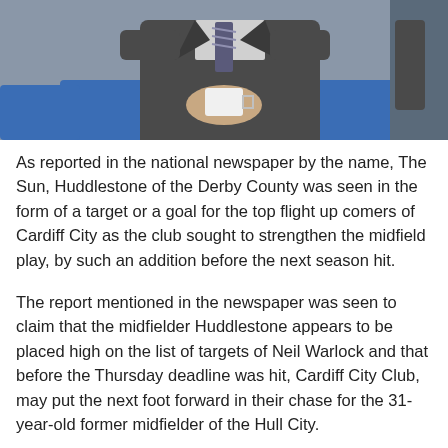[Figure (photo): A man in a grey suit with a striped tie sitting in a blue chair, holding what appears to be a cup or mug. The image is cropped showing mostly the torso and hands.]
As reported in the national newspaper by the name, The Sun, Huddlestone of the Derby County was seen in the form of a target or a goal for the top flight up comers of Cardiff City as the club sought to strengthen the midfield play, by such an addition before the next season hit.
The report mentioned in the newspaper was seen to claim that the midfielder Huddlestone appears to be placed high on the list of targets of Neil Warlock and that before the Thursday deadline was hit, Cardiff City Club, may put the next foot forward in their chase for the 31-year-old former midfielder of the Hull City.
Yet, it appears to be the case that Cardiff City may have to face some competition in the form of Middlesbrough